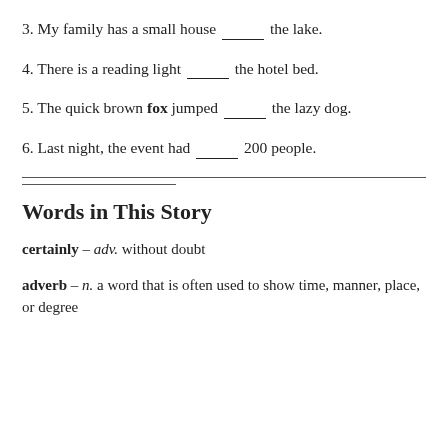3. My family has a small house ___ the lake.
4. There is a reading light ___ the hotel bed.
5. The quick brown fox jumped ___ the lazy dog.
6. Last night, the event had ___ 200 people.
Words in This Story
certainly – adv. without doubt
adverb – n. a word that is often used to show time, manner, place, or degree